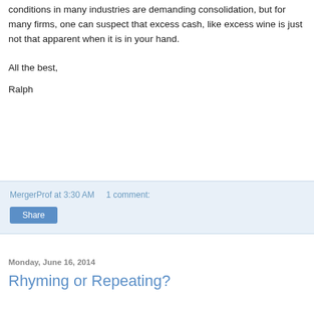conditions in many industries are demanding consolidation, but for many firms, one can suspect that excess cash, like excess wine is just not that apparent when it is in your hand.
All the best,
Ralph
MergerProf at 3:30 AM    1 comment:
Share
Monday, June 16, 2014
Rhyming or Repeating?